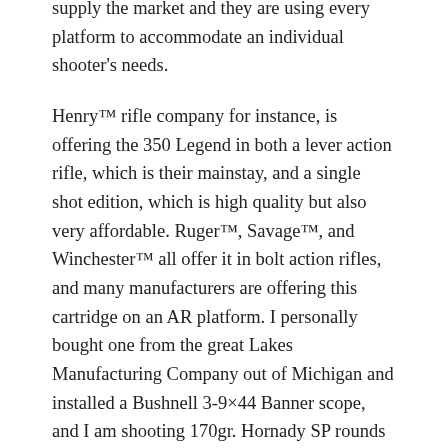supply the market and they are using every platform to accommodate an individual shooter's needs.
Henry™ rifle company for instance, is offering the 350 Legend in both a lever action rifle, which is their mainstay, and a single shot edition, which is high quality but also very affordable. Ruger™, Savage™, and Winchester™ all offer it in bolt action rifles, and many manufacturers are offering this cartridge on an AR platform. I personally bought one from the great Lakes Manufacturing Company out of Michigan and installed a Bushnell 3-9×44 Banner scope, and I am shooting 170gr. Hornady SP rounds after having sighted it in at 150 yards with a Winchester 145gr FMJ. According to the box, 0 at 150 yards will produce a 5.2″ drop at 200 yards and a decrease of 172 fps. I usually set up my AR to fire with my nose touching the charging handle as I was trained; however, you might want to back the scope up a bit because the recoil is